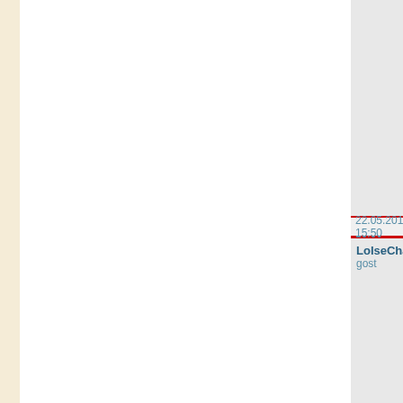22.05.2018 15:50
LoIseChali
gost
23.05.2018 06:50
DevonFuero
gost
23.05.2018 12:54
Yrheolah
gost